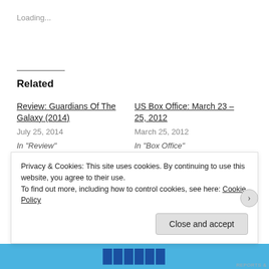Loading...
Related
Review: Guardians Of The Galaxy (2014)
July 25, 2014
In "Review"
US Box Office: March 23 – 25, 2012
March 25, 2012
In "Box Office"
US Box Office: March 9 – 11, 2012
March 11, 2012
In "Box Office"
Privacy & Cookies: This site uses cookies. By continuing to use this website, you agree to their use. To find out more, including how to control cookies, see here: Cookie Policy